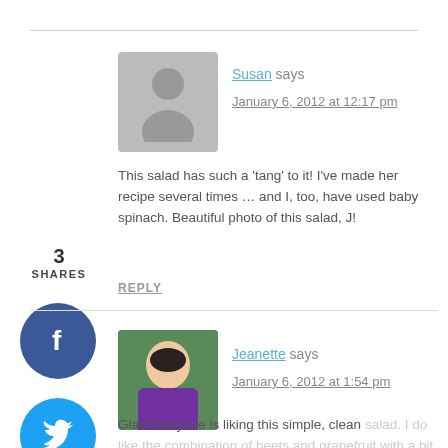3 SHARES
[Figure (illustration): Facebook share button (dark blue circle with white 'f' icon)]
[Figure (illustration): Twitter share button (cyan circle with white bird icon)]
[Figure (illustration): Pinterest share button (red circle with white 'p' icon and count 3)]
[Figure (illustration): Yummly share button (orange circle with white 'yum' text)]
[Figure (photo): Gray placeholder avatar silhouette for commenter Susan]
Susan says
January 6, 2012 at 12:17 pm
This salad has such a 'tang' to it! I've made her recipe several times … and I, too, have used baby spinach. Beautiful photo of this salad, J!
REPLY
[Figure (photo): Photo of commenter Jeanette, Asian woman in purple top outdoors]
Jeanette says
January 6, 2012 at 1:54 pm
Glad everyone is liking this simple, clean salad. I do like the combination of beets and grapefruit with a bit of tang.